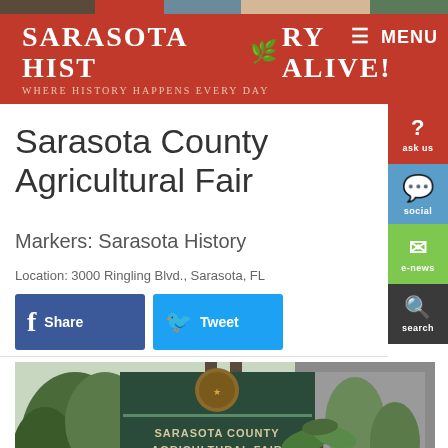Sarasota History Alive! — Where History Happens Every Day
Sarasota County Agricultural Fair
Markers: Sarasota History
Location: 3000 Ringling Blvd., Sarasota, FL
[Figure (screenshot): Facebook Share button and Twitter Tweet button]
[Figure (photo): Photograph of a historical marker sign reading 'Sarasota County Agricultural Fair' with descriptive text below, surrounded by trees and foliage]